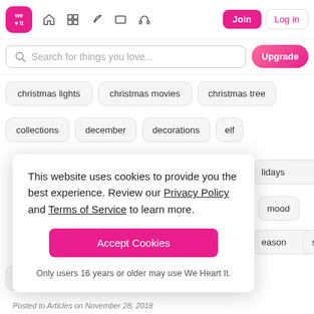[Figure (screenshot): We Heart It website navigation bar with logo, icons, Join and Log in buttons]
Search for things you love...
christmas lights
christmas movies
christmas tree
collections
december
decorations
elf
This website uses cookies to provide you the best experience. Review our Privacy Policy and Terms of Service to learn more.
Accept Cookies
Only users 16 years or older may use We Heart It.
holidays
mood
season
snow
snowman
winter
Posted to Articles on November 28, 2018